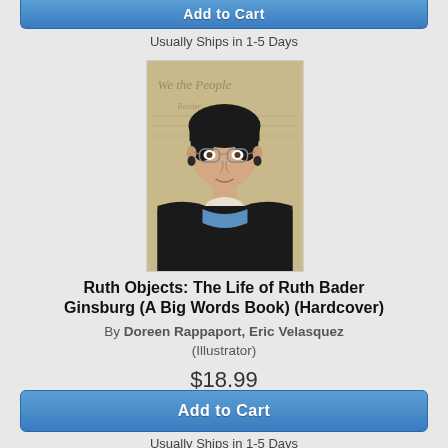Add to Cart
Usually Ships in 1-5 Days
[Figure (illustration): Illustrated portrait of Ruth Bader Ginsburg in judicial robes, with Constitution text in background reading 'We the People']
Ruth Objects: The Life of Ruth Bader Ginsburg (A Big Words Book) (Hardcover)
By Doreen Rappaport, Eric Velasquez (Illustrator)
$18.99
Add to Cart
Usually Ships in 1-5 Days
[Figure (illustration): Book cover showing 'THIS IS OUR' text on blue background - partial view]